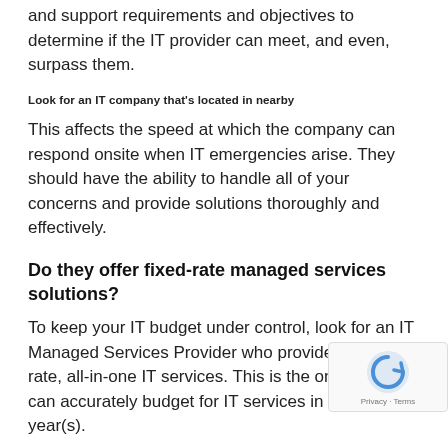and support requirements and objectives to determine if the IT provider can meet, and even, surpass them.
Look for an IT company that's located in nearby
This affects the speed at which the company can respond onsite when IT emergencies arise. They should have the ability to handle all of your concerns and provide solutions thoroughly and effectively.
Do they offer fixed-rate managed services solutions?
To keep your IT budget under control, look for an IT Managed Services Provider who provides fixed-rate, all-in-one IT services. This is the only way you can accurately budget for IT services in the coming year(s).
Choose an IT company that provides 24/7 supp well as onsite and remote service